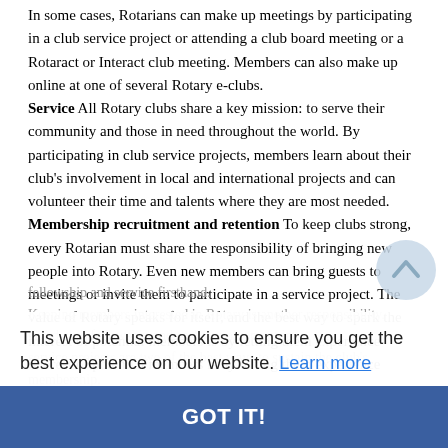In some cases, Rotarians can make up meetings by participating in a club service project or attending a club board meeting or a Rotaract or Interact club meeting. Members can also make up online at one of several Rotary e-clubs. Service All Rotary clubs share a key mission: to serve their community and those in need throughout the world. By participating in club service projects, members learn about their club's involvement in local and international projects and can volunteer their time and talents where they are most needed. Membership recruitment and retention To keep clubs strong, every Rotarian must share the responsibility of bringing new people into Rotary. Even new members can bring guests to meetings or invite them to participate in a service project. The value of Rotary speaks for itself, and the best way to spark the interest of potential members is by letting them experience fellowship and service firsthand.
This website uses cookies to ensure you get the best experience on our website. Learn more
GOT IT!